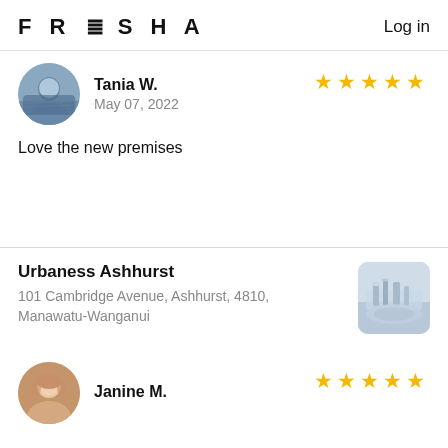FRESHA   Log in
Tania W.
May 07, 2022
[Figure (illustration): Five gold stars rating]
[Figure (photo): Reviewer avatar photo of Tania W.]
Love the new premises
Urbaness Ashhurst
101 Cambridge Avenue, Ashhurst, 4810, Manawatu-Wanganui
[Figure (photo): Venue photo for Urbaness Ashhurst]
Janine M.
[Figure (illustration): Five gold stars rating]
[Figure (photo): Reviewer avatar photo of Janine M.]